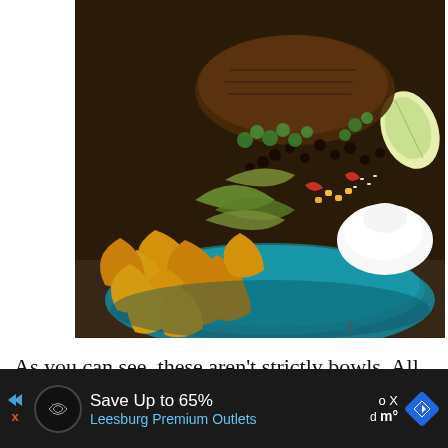[Figure (photo): A teal/blue plate with a Mexican-style meal featuring corn chips (Fritos), grilled meat, black beans, sautéed peppers and onions, cilantro, sour cream, and a lime wedge]
As you can see, these aren't strictly bowls. All
[Figure (screenshot): Advertisement banner with dark background showing 'Save Up to 65% Leesburg Premium Outlets' with navigation arrows and close button]